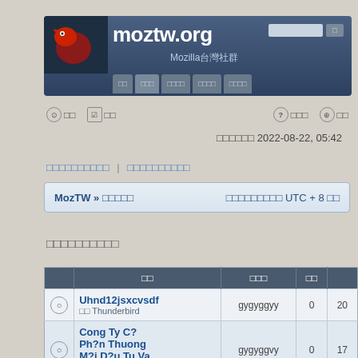[Figure (screenshot): moztw.org Mozilla Taiwan community forum header banner with dinosaur logo, site title, subtitle in Chinese, navigation buttons, and search box]
⊙ □□  ☑ □□                                        ? □□□  ⊕ □□
□□□□□□ 2022-08-22, 05:42
□□□□□□□□□□ | □□□□□□□□□□
| MozTW » □□□□□ | □□□□□□□□□ UTC + 8 □□ |
| --- | --- |
□□□□□□□□□□
|  | □□ | □□□ | □□ |  |
| --- | --- | --- | --- | --- |
| ○ | Uhnd12jsxcvsdf
□□ Thunderbird | gygyggyy | 0 | 20 |
| ○ | Cong Ty C?
Ph?n Thuong
M?i D?u Tu Va
D... | gygyggvy | 0 | 17 |